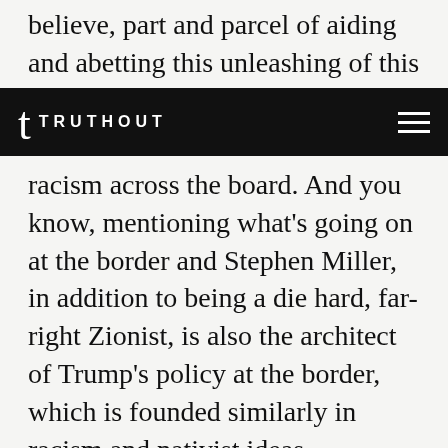believe, part and parcel of aiding and abetting this unleashing of this new anti-Semitism. And
t TRUTHOUT
racism across the board. And you know, mentioning what's going on at the border and Stephen Miller, in addition to being a die hard, far-right Zionist, is also the architect of Trump's policy at the border, which is founded similarly in racism and nativist ideas.

And I think all of these things are connected, which leads me to conclude, as I try to say almost every time I write about this or post about this, that the true answer to what we're